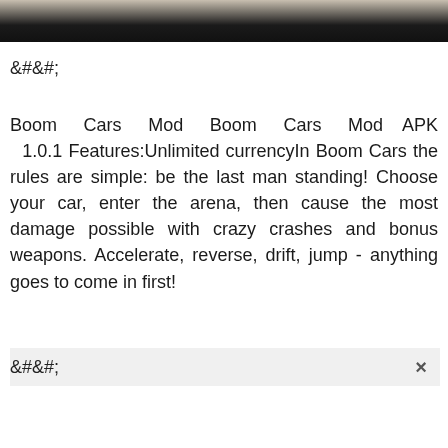[Figure (photo): Dark photo strip at the top showing what appears to be a road or car scene in black tones]
&#;
Boom Cars Mod Boom Cars Mod APK 1.0.1 Features:Unlimited currencyIn Boom Cars the rules are simple: be the last man standing! Choose your car, enter the arena, then cause the most damage possible with crazy crashes and bonus weapons. Accelerate, reverse, drift, jump - anything goes to come in first!
&#;